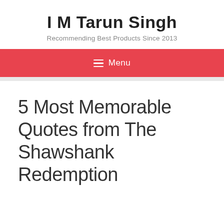I M Tarun Singh
Recommending Best Products Since 2013
≡ Menu
5 Most Memorable Quotes from The Shawshank Redemption